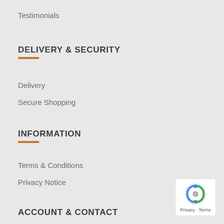Testimonials
DELIVERY & SECURITY
Delivery
Secure Shopping
INFORMATION
Terms & Conditions
Privacy Notice
ACCOUNT & CONTACT
[Figure (other): reCAPTCHA badge with Privacy and Terms links]